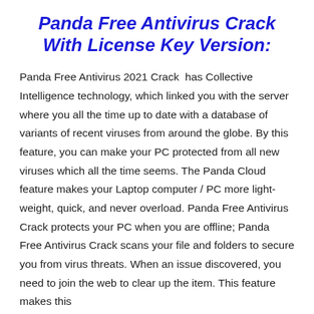Panda Free Antivirus Crack With License Key Version:
Panda Free Antivirus 2021 Crack  has Collective Intelligence technology, which linked you with the server where you all the time up to date with a database of variants of recent viruses from around the globe. By this feature, you can make your PC protected from all new viruses which all the time seems. The Panda Cloud feature makes your Laptop computer / PC more light-weight, quick, and never overload. Panda Free Antivirus Crack protects your PC when you are offline; Panda Free Antivirus Crack scans your file and folders to secure you from virus threats. When an issue discovered, you need to join the web to clear up the item. This feature makes this